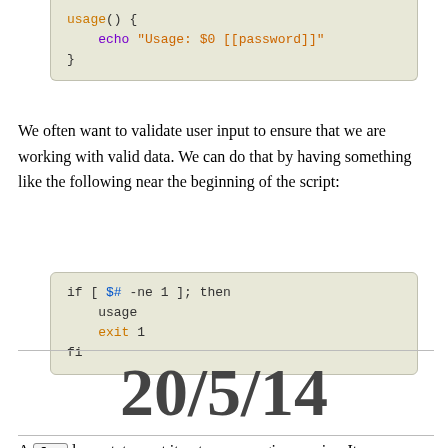[Figure (screenshot): Code block showing shell script usage() function with echo statement]
We often want to validate user input to ensure that we are working with valid data. We can do that by having something like the following near the beginning of the script:
[Figure (screenshot): Code block showing bash if statement checking $# -ne 1, calling usage and exit 1, ending with fi]
20/5/14
A for loop statement iterates over a given series. It